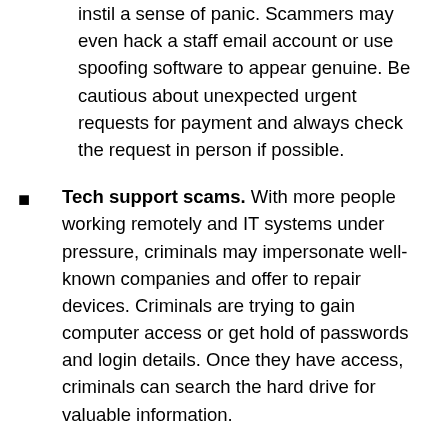instil a sense of panic. Scammers may even hack a staff email account or use spoofing software to appear genuine. Be cautious about unexpected urgent requests for payment and always check the request in person if possible.
Tech support scams. With more people working remotely and IT systems under pressure, criminals may impersonate well-known companies and offer to repair devices. Criminals are trying to gain computer access or get hold of passwords and login details. Once they have access, criminals can search the hard drive for valuable information.
To report a scam or for more information or advice, contact the Citizens Advice Consumer Service on 0808 223 1133. They will also alert Warwickshire Trading Standards Service who can provide additional advice.
Full details of the National Trading Standards protecting businesses from COVID-19 scams is